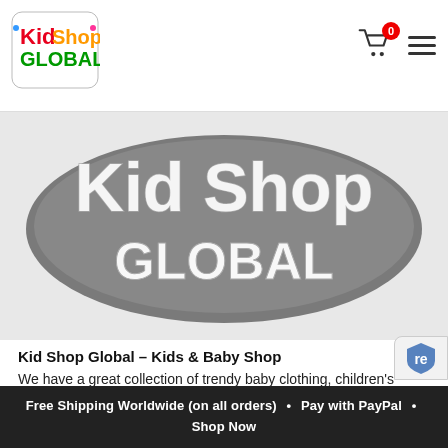[Figure (logo): Kid Shop Global colorful logo in top left header]
[Figure (logo): Kid Shop Global large grey oval banner logo with 'Kid Shop Global' text in white chalk-style lettering on grey background]
Kid Shop Global – Kids & Baby Shop
We have a great collection of trendy baby clothing, children's clothing, baby & children's shoes, baby toys, classic toys, vehicle toys, dolls, electronic toys, learning & education toys, outd
Free Shipping Worldwide (on all orders)  •  Pay with PayPal  •  Shop Now